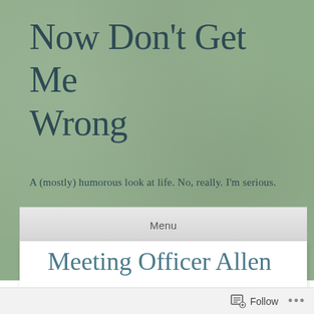Now Don't Get Me Wrong
A (mostly) humorous look at life. No, really. I'm serious.
Menu
Meeting Officer Allen
Posted on January 24, 2021 by Janet
Follow ...